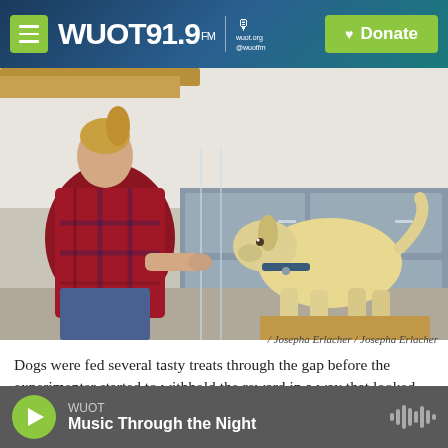WUOT 91.9 FM | wuot.org @wuotfm | Donate
[Figure (photo): A woman in a red plaid shirt sits on the floor facing a yellow Labrador mix dog. The dog stands on the other side of a clear glass partition. The woman holds out a treat through a gap in the glass. The setting appears to be a research or laboratory room with gray cabinets in the background.]
/ Josepha Erlacher / Josepha Erlacher
Dogs were fed several tasty treats through the gap before the experimenter started to withhold the reward in a way that looked either intentional or unintentional. In similar experiments with chimps, the
WUOT | Music Through the Night